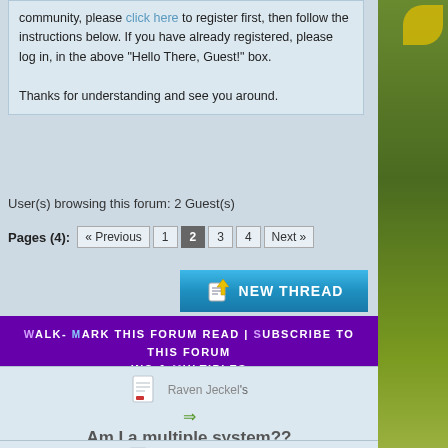community, please click here to register first, then follow the instructions below. If you have already registered, please log in, in the above "Hello There, Guest!" box.

Thanks for understanding and see you around.
User(s) browsing this forum: 2 Guest(s)
Pages (4): « Previous 1 2 3 4 Next »
Walk- Mark this forum read | Subscribe to this forum ins & Multiples
Raven Jeckel's
Am I a multiple system??
(Pages: 1 2)
Replies: 17
Last Post by: Natani (2012-06-28 15:47)
Blazingsmolder's
Relationships with Walk-ins.